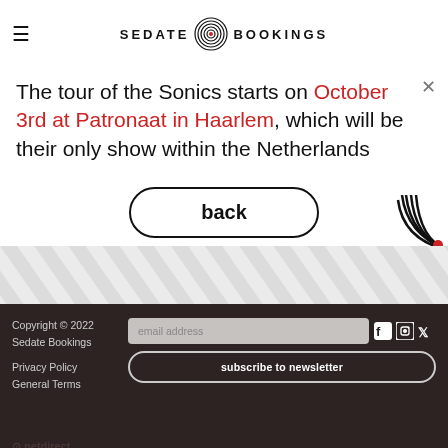SEDATE BOOKINGS
The tour of the Sonics starts on October 3rd at Patronaat in Haarlem, which will be their only show within the Netherlands
back
[Figure (illustration): Decorative concentric arc pattern in bottom right of white area]
[Figure (illustration): Diagonal grey stripe pattern background section]
Copyright © 2022 Sedate Bookings
Privacy Policy
General Terms
email address
subscribe to newsletter